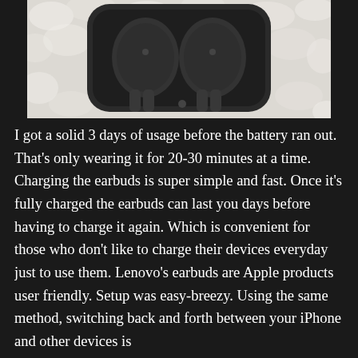[Figure (photo): Top portion of a product photo showing Lenovo earbuds in a dark charging case, placed on a white fluffy/furry surface. The case is open showing two earbuds seated inside.]
I got a solid 3 days of usage before the battery ran out. That's only wearing it for 20-30 minutes at a time. Charging the earbuds is super simple and fast. Once it's fully charged the earbuds can last you days before having to charge it again. Which is convenient for those who don't like to charge their devices everyday just to use them. Lenovo's earbuds are Apple products user friendly. Setup was easy-breezy. Using the same method, switching back and forth between your iPhone and other devices is